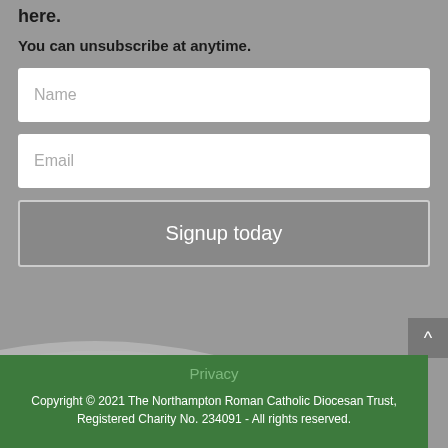here.
You can unsubscribe at anytime.
Name
Email
Signup today
Privacy
Copyright © 2021 The Northampton Roman Catholic Diocesan Trust, Registered Charity No. 234091 - All rights reserved.